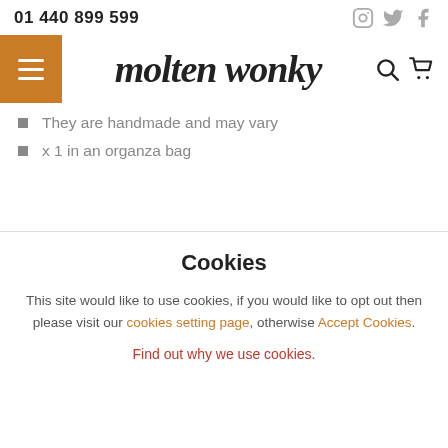01 440 899 599
[Figure (logo): Molten Wonky handwritten-style logo with hamburger menu icon, search icon, and cart icon]
They are handmade and may vary
x 1 in an organza bag
Cookies
This site would like to use cookies, if you would like to opt out then please visit our cookies setting page, otherwise Accept Cookies.
Find out why we use cookies.